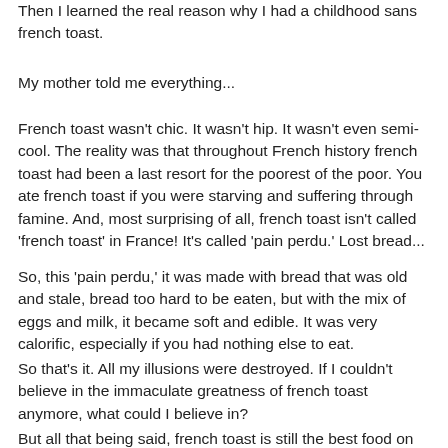Then I learned the real reason why I had a childhood sans french toast.
My mother told me everything...
French toast wasn't chic. It wasn't hip. It wasn't even semi-cool. The reality was that throughout French history french toast had been a last resort for the poorest of the poor. You ate french toast if you were starving and suffering through famine. And, most surprising of all, french toast isn't called 'french toast' in France! It's called 'pain perdu.' Lost bread...
So, this 'pain perdu,' it was made with bread that was old and stale, bread too hard to be eaten, but with the mix of eggs and milk, it became soft and edible. It was very calorific, especially if you had nothing else to eat.
So that's it. All my illusions were destroyed. If I couldn't believe in the immaculate greatness of french toast anymore, what could I believe in?
But all that being said, french toast is still the best food on